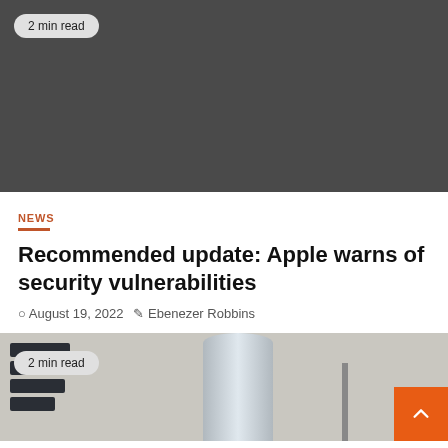[Figure (photo): Dark gray image placeholder with a '2 min read' badge in the top-left corner]
NEWS
Recommended update: Apple warns of security vulnerabilities
August 19, 2022   Ebenezer Robbins
[Figure (photo): Photo showing a metallic cylinder and dark block elements, with a '2 min read' badge. An orange scroll-to-top button is in the bottom-right corner.]